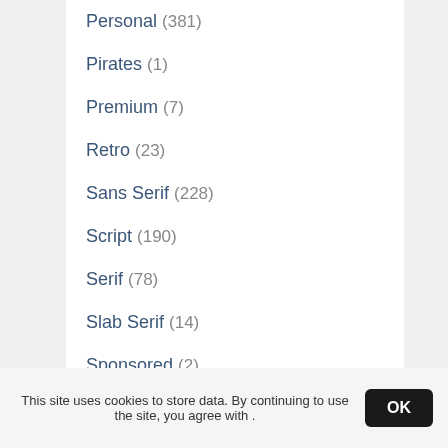Personal (381)
Pirates (1)
Premium (7)
Retro (23)
Sans Serif (228)
Script (190)
Serif (78)
Slab Serif (14)
Sponsored (2)
Stencil (2)
Styling (15)
Symbol (8)
Techno (12)
Time Saving (2)
TrueType (604)
This site uses cookies to store data. By continuing to use the site, you agree with .